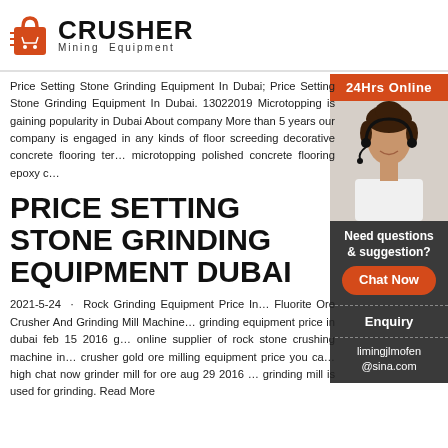[Figure (logo): Crusher Mining Equipment logo — red shopping bag icon with motion lines, bold black CRUSHER text, tagline Mining Equipment]
Price Setting Stone Grinding Equipment In Dubai; Price Setting Stone Grinding Equipment In Dubai. 13022019 Microtopping is gaining popularity in Dubai About company More than 5 years our company is engaged in any kinds of floor screeding decorative concrete flooring ter… microtopping polished concrete flooring epoxy c…
PRICE SETTING STONE GRINDING EQUIPMENT DUBAI
2021-5-24 · Rock Grinding Equipment Price In… Fluorite Ore Crusher And Grinding Mill Machine… grinding equipment price in dubai feb 15 2016 g… online supplier of rock stone crushing machine in… crusher gold ore milling equipment price you ca… high chat now grinder mill for ore aug 29 2016 … grinding mill is used for grinding. Read More
[Figure (photo): 24Hrs Online customer service sidebar with woman wearing headset, Need questions & suggestion text, Chat Now button, Enquiry section, limingjlmofen@sina.com email]